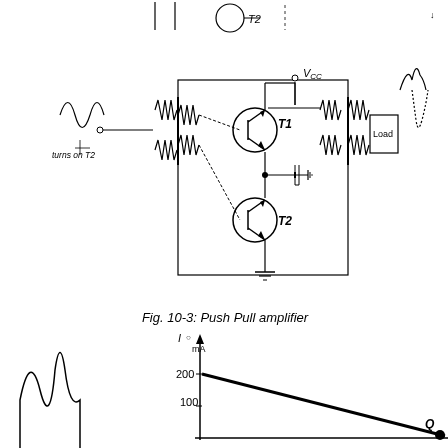[Figure (circuit-diagram): Push Pull amplifier circuit with two transistors T1 and T2, VCC supply, transformers, and Load. Input signal labeled 'turns on T2'. Waveforms shown on input and output sides.]
Fig. 10-3: Push Pull amplifier
[Figure (continuous-plot): Graph with vertical axis labeled 'I mA' showing values 100 and 200, and a load line with operating point Q marked. A waveform shown on the left side.]